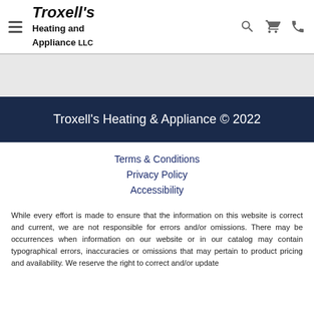[Figure (logo): Troxell's Heating and Appliance LLC logo with hamburger menu icon and search, cart, phone icons in header]
Troxell's Heating & Appliance © 2022
Terms & Conditions
Privacy Policy
Accessibility
While every effort is made to ensure that the information on this website is correct and current, we are not responsible for errors and/or omissions. There may be occurrences when information on our website or in our catalog may contain typographical errors, inaccuracies or omissions that may pertain to product pricing and availability. We reserve the right to correct and/or update